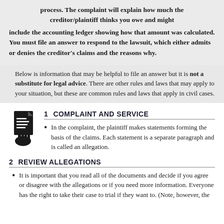process. The complaint will explain how much the creditor/plaintiff thinks you owe and might include the accounting ledger showing how that amount was calculated. You must file an answer to respond to the lawsuit, which either admits or denies the creditor's claims and the reasons why.
Below is information that may be helpful to file an answer but it is not a substitute for legal advice. There are other rules and laws that may apply to your situation, but these are common rules and laws that apply in civil cases.
1  COMPLAINT AND SERVICE
[Figure (illustration): Icon of a hand holding a document with lines of text on it]
In the complaint, the plaintiff makes statements forming the basis of the claims. Each statement is a separate paragraph and is called an allegation.
2  REVIEW ALLEGATIONS
It is important that you read all of the documents and decide if you agree or disagree with the allegations or if you need more information. Everyone has the right to take their case to trial if they want to. (Note, however, the